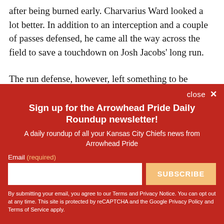after being burned early. Charvarius Ward looked a lot better. In addition to an interception and a couple of passes defensed, he came all the way across the field to save a touchdown on Josh Jacobs' long run.
The run defense, however, left something to be desired. Through those same three quarters, the
[Figure (other): Newsletter signup modal overlay with red background. Title: 'Sign up for the Arrowhead Pride Daily Roundup newsletter!'. Subtitle: 'A daily roundup of all your Kansas City Chiefs news from Arrowhead Pride'. Email input field and SUBSCRIBE button. Footer disclaimer about Terms and Privacy Notice, reCAPTCHA, Google Privacy Policy and Terms of Service.]